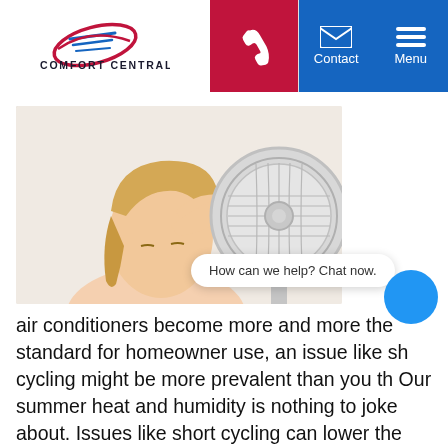[Figure (logo): Comfort Central logo with stylized swoosh icon in red and blue, text reading COMFORT CENTRAL]
[Figure (other): Navigation bar with phone icon on red background, Contact and Menu items on blue background with envelope and hamburger icons]
[Figure (photo): Woman with blonde hair holding hand to forehead looking distressed, with a white electric fan visible to the right, on white background]
How can we help? Chat now.
air conditioners become more and more the standard for homeowner use, an issue like sh cycling might be more prevalent than you th Our summer heat and humidity is nothing to joke about. Issues like short cycling can lower the